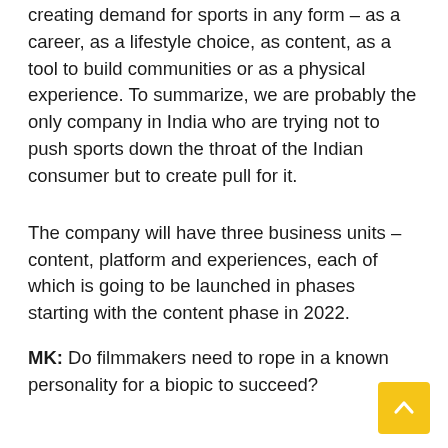creating demand for sports in any form – as a career, as a lifestyle choice, as content, as a tool to build communities or as a physical experience. To summarize, we are probably the only company in India who are trying not to push sports down the throat of the Indian consumer but to create pull for it.
The company will have three business units – content, platform and experiences, each of which is going to be launched in phases starting with the content phase in 2022.
MK: Do filmmakers need to rope in a known personality for a biopic to succeed?